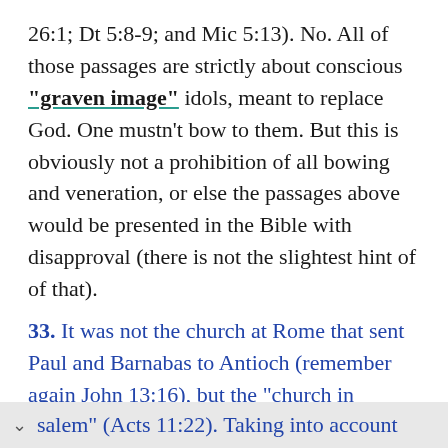26:1; Dt 5:8-9; and Mic 5:13). No. All of those passages are strictly about conscious "graven image" idols, meant to replace God. One mustn't bow to them. But this is obviously not a prohibition of all bowing and veneration, or else the passages above would be presented in the Bible with disapproval (there is not the slightest hint of of that).
33. It was not the church at Rome that sent Paul and Barnabas to Antioch (remember again John 13:16), but the "church in salem" (Acts 11:22). Taking into account